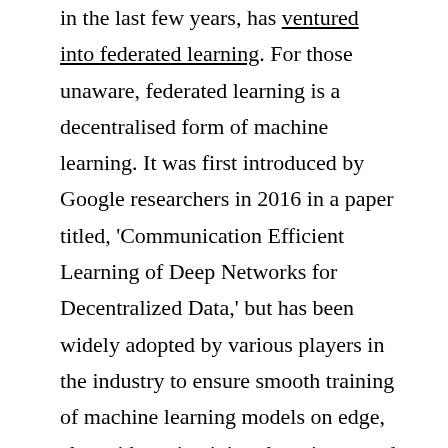in the last few years, has ventured into federated learning. For those unaware, federated learning is a decentralised form of machine learning. It was first introduced by Google researchers in 2016 in a paper titled, 'Communication Efficient Learning of Deep Networks for Decentralized Data,' but has been widely adopted by various players in the industry to ensure smooth training of machine learning models on edge, alongside maintaining the privacy and security of user data.
In 2019, Apple, in collaboration with Stanford University, released a research paper called 'Preserving Active Recommendations and I...